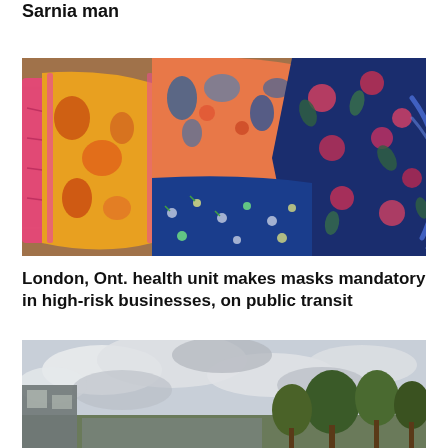Sarnia man
[Figure (photo): Collection of colorful fabric face masks laid on a wooden surface — orange/yellow patterned, pink, coral paisley/floral, and dark navy blue floral masks with elastic ear loops]
London, Ont. health unit makes masks mandatory in high-risk businesses, on public transit
[Figure (photo): Outdoor scene with cloudy sky, trees in the background, and what appears to be a building or structure at lower left]